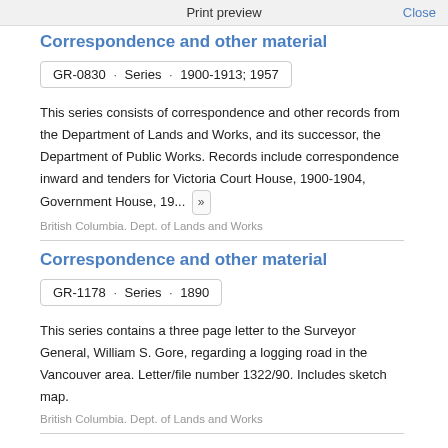Print preview   Close
Correspondence and other material
GR-0830 · Series · 1900-1913; 1957
This series consists of correspondence and other records from the Department of Lands and Works, and its successor, the Department of Public Works. Records include correspondence inward and tenders for Victoria Court House, 1900-1904, Government House, 19... »
British Columbia. Dept. of Lands and Works
Correspondence and other material
GR-1178 · Series · 1890
This series contains a three page letter to the Surveyor General, William S. Gore, regarding a logging road in the Vancouver area. Letter/file number 1322/90. Includes sketch map.
British Columbia. Dept. of Lands and Works